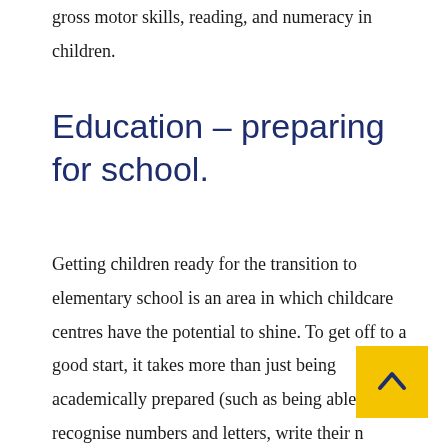gross motor skills, reading, and numeracy in children.
Education – preparing for school.
Getting children ready for the transition to elementary school is an area in which childcare centres have the potential to shine. To get off to a good start, it takes more than just being academically prepared (such as being able to recognise numbers and letters, write their name and be familiar with basic words and calculations). It also requires becoming